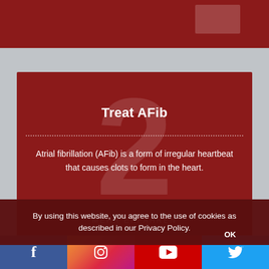[Figure (screenshot): Top partial dark red band with a lighter rectangle shape on the right side, partial card from previous section]
Treat AFib
Atrial fibrillation (AFib) is a form of irregular heartbeat that causes clots to form in the heart.
MEHR ERFAHREN
[Figure (screenshot): Partial bottom dark red card with large background number]
By using this website, you agree to the use of cookies as described in our Privacy Policy.
OK
Facebook | Instagram | YouTube | Twitter social media links bar